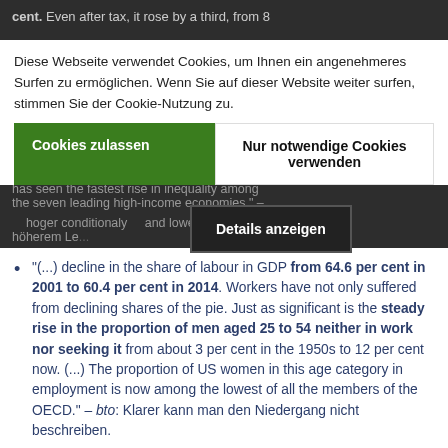cent. Even after tax, it rose by a third, from 8 ... inequality of ... has seen the fastest rise in inequality among the seven leading high-income economies." – ... hoger conditionaly ... höherem Le...
Diese Webseite verwendet Cookies, um Ihnen ein angenehmeres Surfen zu ermöglichen. Wenn Sie auf dieser Website weiter surfen, stimmen Sie der Cookie-Nutzung zu.
Cookies zulassen
Nur notwendige Cookies verwenden
Details anzeigen
"(...) decline in the share of labour in GDP from 64.6 per cent in 2001 to 60.4 per cent in 2014. Workers have not only suffered from declining shares of the pie. Just as significant is the steady rise in the proportion of men aged 25 to 54 neither in work nor seeking it from about 3 per cent in the 1950s to 12 per cent now. (...) The proportion of US women in this age category in employment is now among the lowest of all the members of the OECD." – bto: Klarer kann man den Niedergang nicht beschreiben.
"No less disturbing is a decline in economic